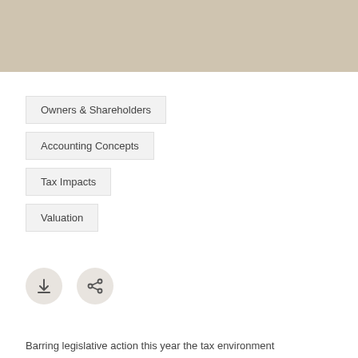[Figure (other): Tan/beige decorative header bar]
Owners & Shareholders
Accounting Concepts
Tax Impacts
Valuation
[Figure (other): Download icon circle button]
[Figure (other): Share icon circle button]
Barring legislative action this year the tax environment